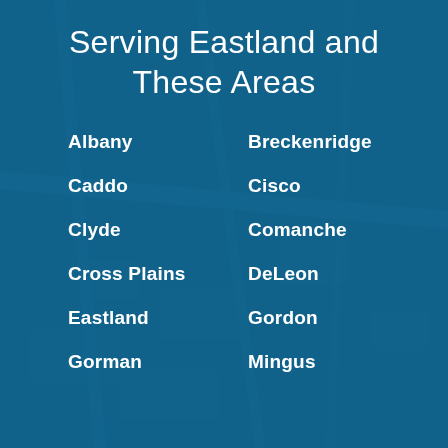Serving Eastland and These Areas
Albany
Breckenridge
Caddo
Cisco
Clyde
Comanche
Cross Plains
DeLeon
Eastland
Gordon
Gorman
Mingus